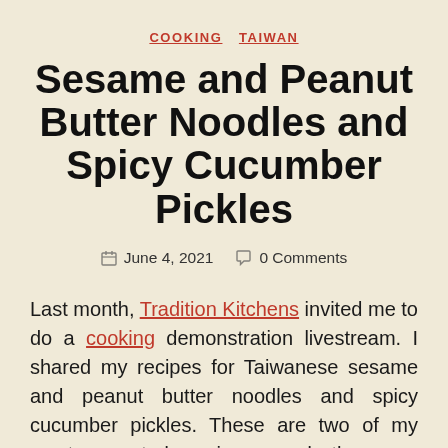COOKING   TAIWAN
Sesame and Peanut Butter Noodles and Spicy Cucumber Pickles
June 4, 2021   0 Comments
Last month, Tradition Kitchens invited me to do a cooking demonstration livestream. I shared my recipes for Taiwanese sesame and peanut butter noodles and spicy cucumber pickles. These are two of my most-requested recipes, and they are always a hit when I host dinner parties or bring them to potlucks.